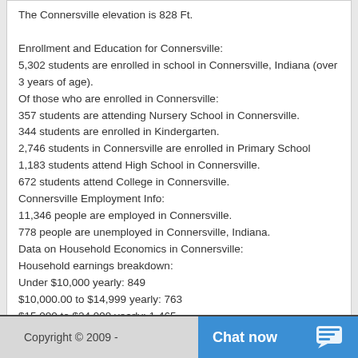The Connersville elevation is 828 Ft.
Enrollment and Education for Connersville:
5,302 students are enrolled in school in Connersville, Indiana (over 3 years of age).
Of those who are enrolled in Connersville:
357 students are attending Nursery School in Connersville.
344 students are enrolled in Kindergarten.
2,746 students in Connersville are enrolled in Primary School
1,183 students attend High School in Connersville.
672 students attend College in Connersville.
Connersville Employment Info:
11,346 people are employed in Connersville.
778 people are unemployed in Connersville, Indiana.
Data on Household Economics in Connersville:
Household earnings breakdown:
Under $10,000 yearly: 849
$10,000.00 to $14,999 yearly: 763
$15,000 to $24,999 yearly: 1,465
$25,000 to $34,999 yearly: 1,439
$35,000 to $49,999 yearly: 1,863
$50,000 to $74,999 yearly: 2,082
$75,000 to $99,999 yearly: 722
$100,000 to $149,999 yearly: 540
$150,000 to $199,999 yearly: 78
$200,000 or more yearly: 82
Copyright © 2009 -